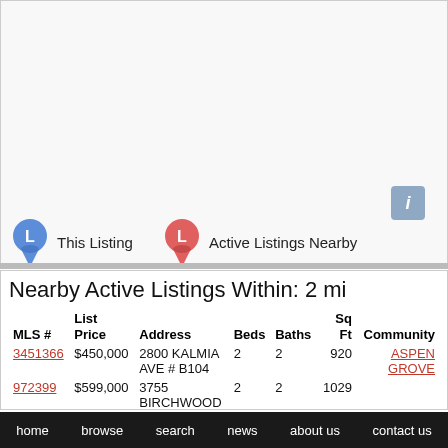[Figure (map): Map area showing property location with blue and red listing pins]
This Listing
Active Listings Nearby
Nearby Active Listings Within: 2 mi
| MLS # | List Price | Address | Beds | Baths | Sq Ft | Community |
| --- | --- | --- | --- | --- | --- | --- |
| 3451366 | $450,000 | 2800 KALMIA AVE # B104 | 2 | 2 | 920 | ASPEN GROVE |
| 972399 | $599,000 | 3755 BIRCHWOOD | 2 | 2 | 1029 |  |
home   browse   search   news   about us   contact us